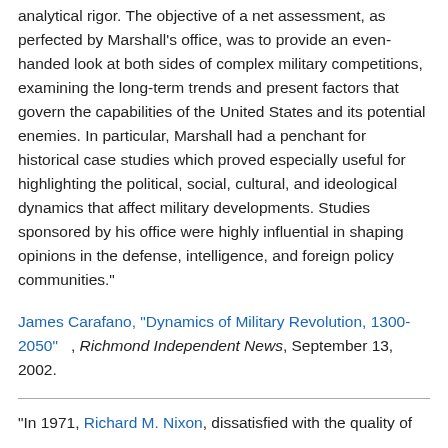analytical rigor. The objective of a net assessment, as perfected by Marshall's office, was to provide an even-handed look at both sides of complex military competitions, examining the long-term trends and present factors that govern the capabilities of the United States and its potential enemies. In particular, Marshall had a penchant for historical case studies which proved especially useful for highlighting the political, social, cultural, and ideological dynamics that affect military developments. Studies sponsored by his office were highly influential in shaping opinions in the defense, intelligence, and foreign policy communities."
James Carafano, "Dynamics of Military Revolution, 1300-2050"   , Richmond Independent News, September 13, 2002.
"In 1971, Richard M. Nixon, dissatisfied with the quality of